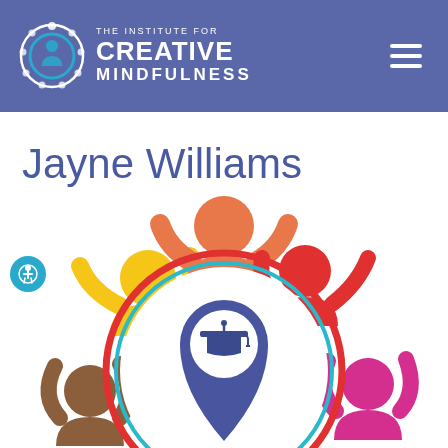THE INSTITUTE FOR CREATIVE MINDFULNESS
Jayne Williams
[Figure (illustration): Colorful illustration of diverse stylized human figures arranged in a circle around a central academic graduation cap location pin icon. Figures include orange at top, yellow and brown on left, red and pink on right. The icon in the center is a dark blue map pin containing a white circle with a graduation mortarboard cap.]